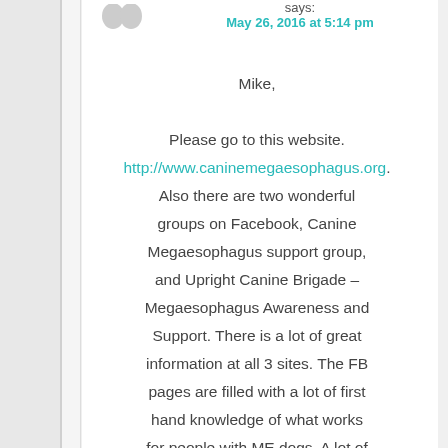says:
May 26, 2016 at 5:14 pm
Mike,

Please go to this website. http://www.caninemegaesophagus.org. Also there are two wonderful groups on Facebook, Canine Megaesophagus support group, and Upright Canine Brigade – Megaesophagus Awareness and Support. There is a lot of great information at all 3 sites. The FB pages are filled with a lot of first hand knowledge of what works for people with ME dogs. A lot of vets only know text book information and really don't know what works, but we live with it on a daily basis and learn what works and what doesn't through trial and error. The people are as